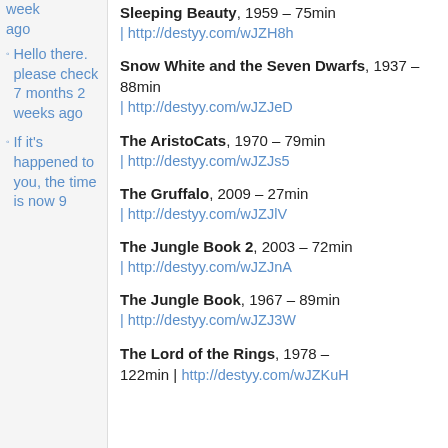week ago
Hello there. please check 7 months 2 weeks ago
If it's happened to you, the time is now 9
Sleeping Beauty, 1959 – 75min | http://destyy.com/wJZH8h
Snow White and the Seven Dwarfs, 1937 – 88min | http://destyy.com/wJZJeD
The AristoCats, 1970 – 79min | http://destyy.com/wJZJs5
The Gruffalo, 2009 – 27min | http://destyy.com/wJZJlV
The Jungle Book 2, 2003 – 72min | http://destyy.com/wJZJnA
The Jungle Book, 1967 – 89min | http://destyy.com/wJZJ3W
The Lord of the Rings, 1978 – 122min | http://destyy.com/wJZKuH